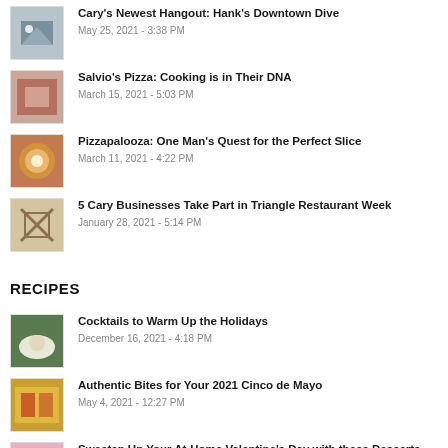Cary's Newest Hangout: Hank's Downtown Dive
May 25, 2021 - 3:38 PM
Salvio's Pizza: Cooking is in Their DNA
March 15, 2021 - 5:03 PM
Pizzapalooza: One Man's Quest for the Perfect Slice
March 11, 2021 - 4:22 PM
5 Cary Businesses Take Part in Triangle Restaurant Week
January 28, 2021 - 5:14 PM
RECIPES
Cocktails to Warm Up the Holidays
December 16, 2021 - 4:18 PM
Authentic Bites for Your 2021 Cinco de Mayo
May 4, 2021 - 12:27 PM
Sweeten Up Your At-Home Valentine's Day with these Desserts
February 11, 2021 - 2:06 PM